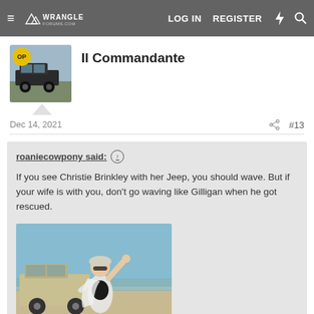LOG IN  REGISTER
Il Commandante
Dec 14, 2021  #13
roaniecowpony said: ↑

If you see Christie Brinkley with her Jeep, you should wave. But if your wife is with you, don't go waving like Gilligan when he got rescued.
[Figure (photo): A woman in a black swimsuit and white wrap, sunglasses, waving beside a Jeep on a beach with blue sky background.]